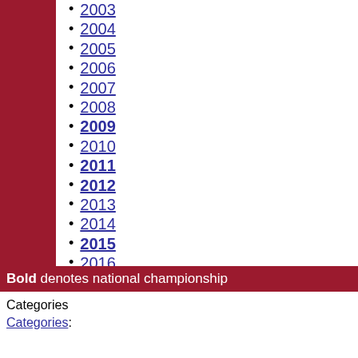2003
2004
2005
2006
2007
2008
2009
2010
2011
2012
2013
2014
2015
2016
2017
2018
2019
2020
2021
2022
Bold denotes national championship
Categories
Categories: